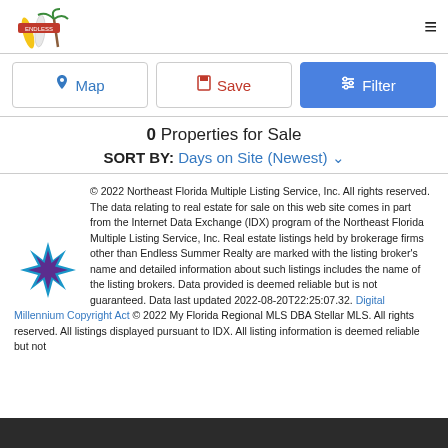Endless Summer Realty logo and hamburger menu
Map | Save | Filter buttons
0 Properties for Sale
SORT BY: Days on Site (Newest)
© 2022 Northeast Florida Multiple Listing Service, Inc. All rights reserved. The data relating to real estate for sale on this web site comes in part from the Internet Data Exchange (IDX) program of the Northeast Florida Multiple Listing Service, Inc. Real estate listings held by brokerage firms other than Endless Summer Realty are marked with the listing broker's name and detailed information about such listings includes the name of the listing brokers. Data provided is deemed reliable but is not guaranteed. Data last updated 2022-08-20T22:25:07.32. Digital Millennium Copyright Act © 2022 My Florida Regional MLS DBA Stellar MLS. All rights reserved. All listings displayed pursuant to IDX. All listing information is deemed reliable but not